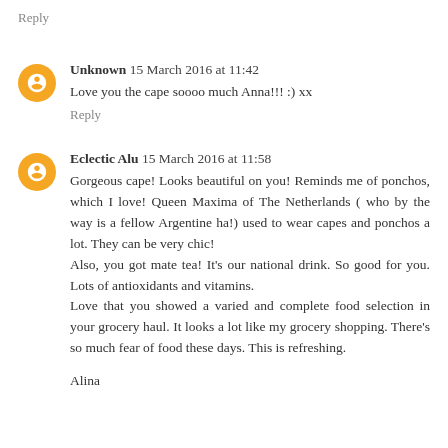Reply
Unknown  15 March 2016 at 11:42
Love you the cape soooo much Anna!!! :) xx
Reply
Eclectic Alu  15 March 2016 at 11:58
Gorgeous cape! Looks beautiful on you! Reminds me of ponchos, which I love! Queen Maxima of The Netherlands ( who by the way is a fellow Argentine ha!) used to wear capes and ponchos a lot. They can be very chic!
Also, you got mate tea! It's our national drink. So good for you. Lots of antioxidants and vitamins.
Love that you showed a varied and complete food selection in your grocery haul. It looks a lot like my grocery shopping. There's so much fear of food these days. This is refreshing.
Alina